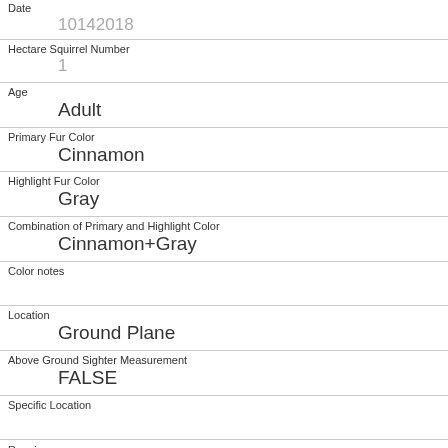Date
10142018
Hectare Squirrel Number
1
Age
Adult
Primary Fur Color
Cinnamon
Highlight Fur Color
Gray
Combination of Primary and Highlight Color
Cinnamon+Gray
Color notes
Location
Ground Plane
Above Ground Sighter Measurement
FALSE
Specific Location
Running